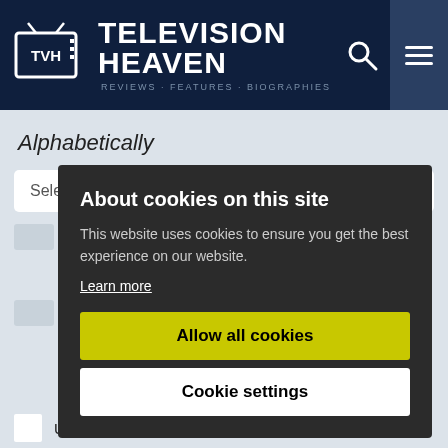Television Heaven
Alphabetically
Select:
[Figure (screenshot): Cookie consent overlay on Television Heaven website. Dark background modal with title 'About cookies on this site', body text, Learn more link, yellow 'Allow all cookies' button, and white 'Cookie settings' button.]
About cookies on this site
This website uses cookies to ensure you get the best experience on our website.
Learn more
Allow all cookies
Cookie settings
USA & Italy